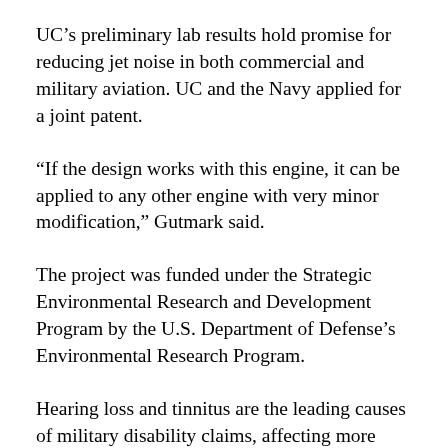UC's preliminary lab results hold promise for reducing jet noise in both commercial and military aviation. UC and the Navy applied for a joint patent.
“If the design works with this engine, it can be applied to any other engine with very minor modification,” Gutmark said.
The project was funded under the Strategic Environmental Research and Development Program by the U.S. Department of Defense’s Environmental Research Program.
Hearing loss and tinnitus are the leading causes of military disability claims, affecting more than 2.6 million former service members, according to numbers from the U.S. Department of Veterans Affairs. The VA spends more than $1 billion per year on hearing loss cases, which represent about 15% of new disability